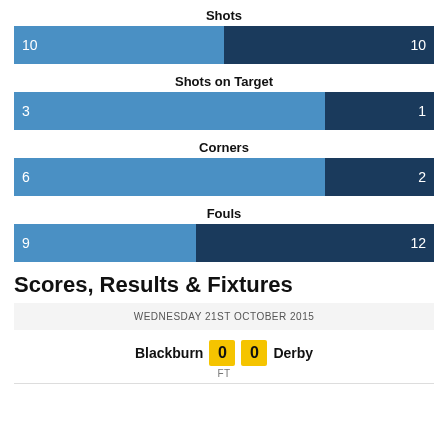Shots
[Figure (bar-chart): Shots]
Shots on Target
[Figure (bar-chart): Shots on Target]
Corners
[Figure (bar-chart): Corners]
Fouls
[Figure (bar-chart): Fouls]
Scores, Results & Fixtures
WEDNESDAY 21ST OCTOBER 2015
Blackburn 0 0 Derby FT